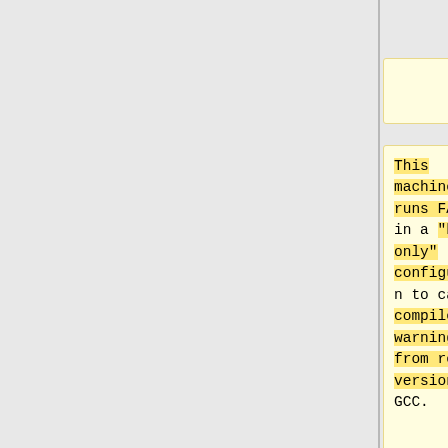McG]]
This machine runs FATE in a "build only" configuration to catch compiler warnings from recent versions of GCC.
Oracle Solaris 11.1 running in 64-bit mode on an Intel "Sandy Bridge" i7 2700K. The machine has 4 cores (x 2 for HyperThread) and 8GB of DDR3 RAM.
[[Image:Powe